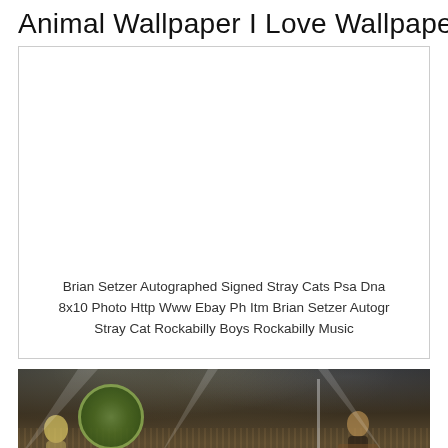Animal Wallpaper I Love Wallpaper
[Figure (photo): Blank white image placeholder inside a bordered card]
Brian Setzer Autographed Signed Stray Cats Psa Dna 8x10 Photo Http Www Ebay Ph Itm Brian Setzer Autogr Stray Cat Rockabilly Boys Rockabilly Music
[Figure (photo): Concert photo showing performers on stage with a large crowd, dramatic stage lighting, drum kit visible on the left, performers with guitars on right]